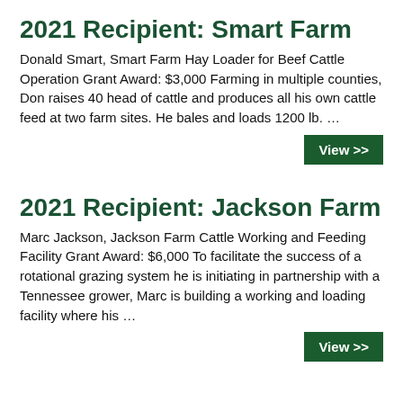2021 Recipient: Smart Farm
Donald Smart, Smart Farm Hay Loader for Beef Cattle Operation Grant Award: $3,000 Farming in multiple counties, Don raises 40 head of cattle and produces all his own cattle feed at two farm sites. He bales and loads 1200 lb. …
2021 Recipient: Jackson Farm
Marc Jackson, Jackson Farm Cattle Working and Feeding Facility Grant Award: $6,000 To facilitate the success of a rotational grazing system he is initiating in partnership with a Tennessee grower, Marc is building a working and loading facility where his …